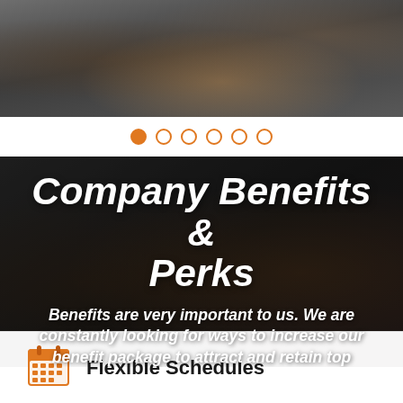[Figure (photo): Photo of a person exercising with gym equipment, weights visible in background, blurred/bokeh effect]
[Figure (infographic): Pagination dots: one filled orange dot followed by five empty orange-outlined dots]
Company Benefits & Perks
Benefits are very important to us. We are constantly looking for ways to increase our benefit package to attract and retain top candidates.
Flexible Schedules